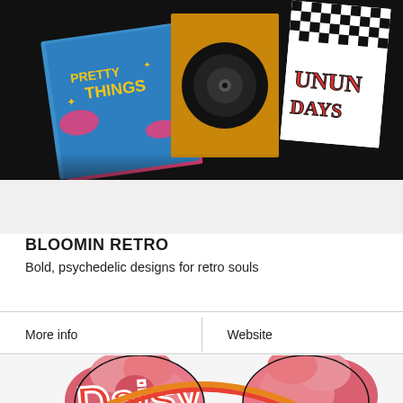[Figure (photo): Colorful retro-style printed cards and posters spread on a dark black background. Designs feature bold psychedelic typography and patterns including checkerboard, vivid pink/blue/yellow color schemes.]
BLOOMIN RETRO
Bold, psychedelic designs for retro souls
More info
Website
[Figure (illustration): Colorful retro illustration featuring large pink roses and bold retro-style lettering in orange, red and white, partially visible at the bottom of the page.]